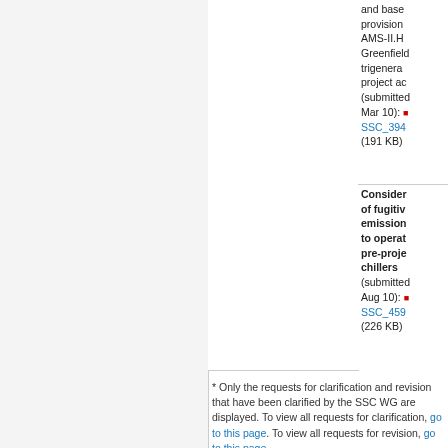| (cell continues above) ...and base provision AMS-II.H Greenfield trigenera project ac (submitted Mar 10): SSC_394 (191 KB) |  |  |
|  |  | Consideration of fugitive emissions to operat pre-proje chillers (submitted Aug 10): SSC_459 (226 KB) |
* Only the requests for clarification and revision that have been clarified by the SSC WG are displayed. To view all requests for clarification, go to this page. To view all requests for revision, go to this page.